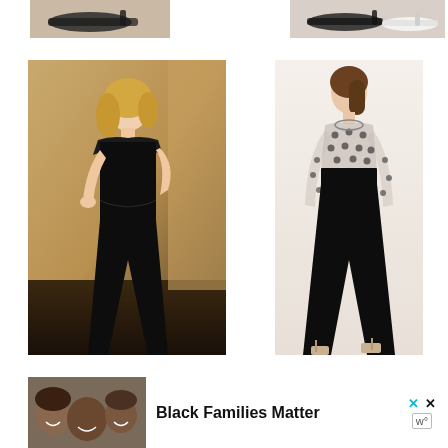[Figure (photo): Cropped view of dark sandal shoes at top left]
[Figure (photo): Cropped view of dark and white sandal shoes at top right]
[Figure (photo): Fashion photo: blonde woman in black sleeveless jumpsuit against gold/brown background]
[Figure (photo): Fashion photo: woman in black velvet wide-leg jumpsuit with sheer polka-dot long-sleeve top portion]
[Figure (photo): Small cropped photo of woman's face at bottom right]
[Figure (photo): Advertisement photo: group of children lying together smiling]
Black Families Matter